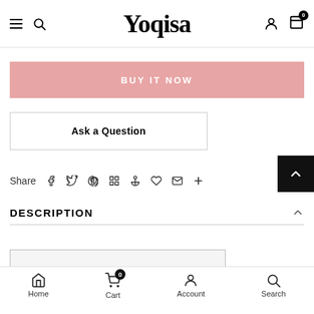Yoqisa — navigation header with hamburger menu, search, user account, and cart icons
BUY IT NOW
Ask a Question
Share  f  Twitter  Pinterest  Grid  Anchor  Heart  Mail  +
DESCRIPTION
[Figure (other): SIZE CHART header banner, partially visible at bottom of page]
Home  Cart (0)  Account  Search